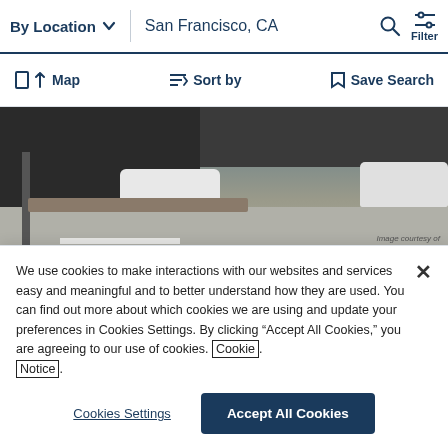By Location  San Francisco, CA  Filter
Map  Sort by  Save Search
[Figure (photo): Street-level photo of an urban intersection in San Francisco, CA, showing parked and moving vehicles, a sidewalk, and a building. Image courtesy of CommercialEdge watermark in bottom right.]
We use cookies to make interactions with our websites and services easy and meaningful and to better understand how they are used. You can find out more about which cookies we are using and update your preferences in Cookies Settings. By clicking “Accept All Cookies,” you are agreeing to our use of cookies. Cookie Notice.
Cookies Settings  Accept All Cookies